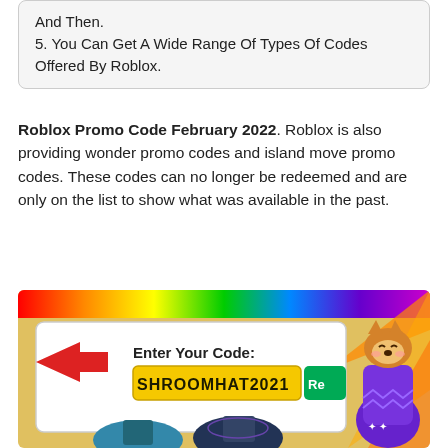And Then.
5. You Can Get A Wide Range Of Types Of Codes Offered By Roblox.
Roblox Promo Code February 2022. Roblox is also providing wonder promo codes and island move promo codes. These codes can no longer be redeemed and are only on the list to show what was available in the past.
[Figure (screenshot): Screenshot of a Roblox promo code redemption screen showing 'Enter Your Code:' with the code SHROOMHAT2021 entered in a yellow text box, a green 'Re' button visible, and a Shiba Inu dog character in a purple potion bottle on the right side. Rainbow-colored background with a red arrow pointing to the input area.]